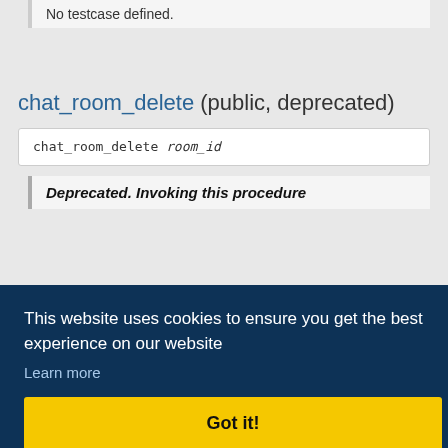No testcase defined.
chat_room_delete (public, deprecated)
chat_room_delete room_id
Deprecated. Invoking this procedure
This website uses cookies to ensure you get the best experience on our website
Learn more
Got it!
ms, email
(Powered by Tcl, Next Scripting, NaviServer 4.99.24, IPv4)